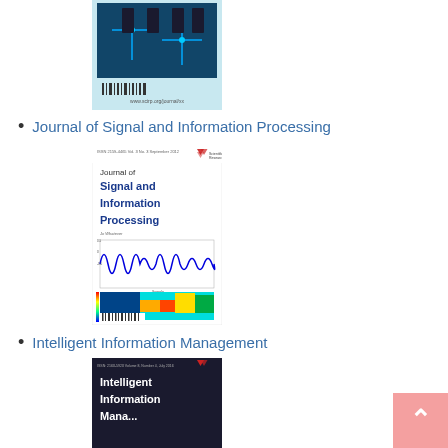[Figure (photo): Journal cover image showing electronic circuit board with dark components on teal/blue background, with barcode at bottom]
Journal of Signal and Information Processing
[Figure (photo): Journal cover for 'Journal of Signal and Information Processing' showing waveform and spectrogram images, dark blue text, Scientific Research Publishing logo]
Intelligent Information Management
[Figure (photo): Journal cover for 'Intelligent Information Management' showing dark background with white text and Scientific Research Publishing logo]